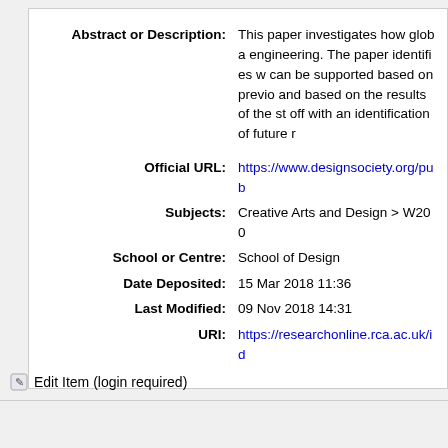| Field | Value |
| --- | --- |
| Abstract or Description: | This paper investigates how globa engineering. The paper identifies w can be supported based on previo and based on the results of the st off with an identification of future r |
| Official URL: | https://www.designsociety.org/pub |
| Subjects: | Creative Arts and Design > W200 |
| School or Centre: | School of Design |
| Date Deposited: | 15 Mar 2018 11:36 |
| Last Modified: | 09 Nov 2018 14:31 |
| URI: | https://researchonline.rca.ac.uk/id |
Edit Item (login required)